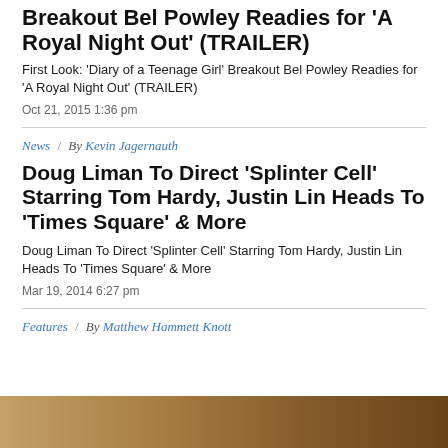Breakout Bel Powley Readies for 'A Royal Night Out' (TRAILER)
First Look: 'Diary of a Teenage Girl' Breakout Bel Powley Readies for 'A Royal Night Out' (TRAILER)
Oct 21, 2015 1:36 pm
News / By Kevin Jagernauth
Doug Liman To Direct 'Splinter Cell' Starring Tom Hardy, Justin Lin Heads To 'Times Square' & More
Doug Liman To Direct 'Splinter Cell' Starring Tom Hardy, Justin Lin Heads To 'Times Square' & More
Mar 19, 2014 6:27 pm
Features / By Matthew Hammett Knott
[Figure (photo): Partial view of a person's face/head, warm toned photograph cropped at bottom of page]